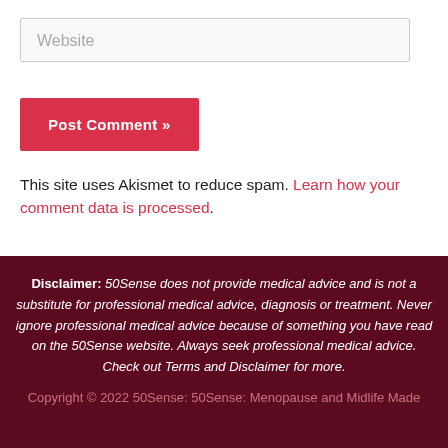Website
Post Comment »
This site uses Akismet to reduce spam. Learn how your comment data is processed.
Disclaimer: 50Sense does not provide medical advice and is not a substitute for professional medical advice, diagnosis or treatment. Never ignore professional medical advice because of something you have read on the 50Sense website. Always seek professional medical advice. Check out Terms and Disclaimer for more.
Copyright © 2022 50Sense: 50Sense: Menopause and Midlife Made